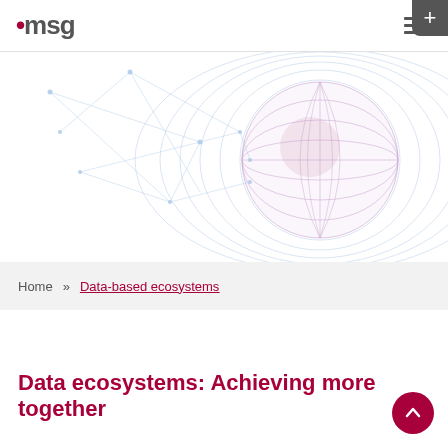.msg
[Figure (illustration): Abstract digital globe with network mesh lines and concentric rings on a white background, rendered in light blue and pink/purple tones]
Home » Data-based ecosystems
Data ecosystems: Achieving more together